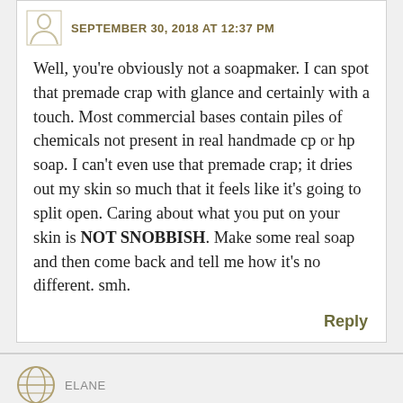SEPTEMBER 30, 2018 AT 12:37 PM
Well, you're obviously not a soapmaker. I can spot that premade crap with glance and certainly with a touch. Most commercial bases contain piles of chemicals not present in real handmade cp or hp soap. I can't even use that premade crap; it dries out my skin so much that it feels like it's going to split open. Caring about what you put on your skin is NOT SNOBBISH. Make some real soap and then come back and tell me how it's no different. smh.
Reply
ELANE